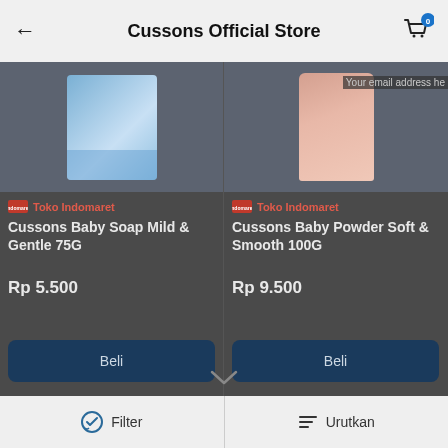Cussons Official Store
[Figure (screenshot): Product image of Cussons Baby Soap Mild & Gentle 75G on a blue/light background]
Toko Indomaret
Cussons Baby Soap Mild & Gentle 75G
Rp 5.500
Beli
[Figure (screenshot): Product image of Cussons Baby Powder Soft & Smooth 100G on a light background]
Toko Indomaret
Cussons Baby Powder Soft & Smooth 100G
Rp 9.500
Beli
Halaman  1  dari 1
Filter   Urutkan